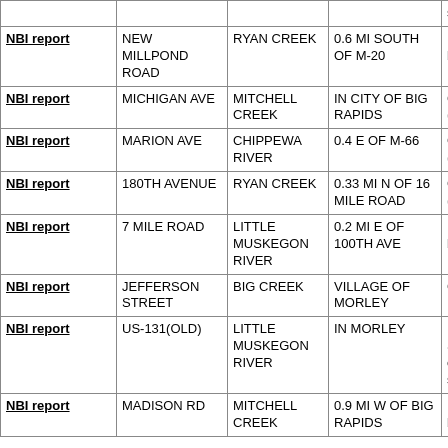|  | Road | Feature Crossed | Location | Structure Type |
| --- | --- | --- | --- | --- |
| (partial top row) |  |  |  | spans) |
| NBI report | NEW MILLPOND ROAD | RYAN CREEK | 0.6 MI SOUTH OF M-20 | Prestressed Box beam girders - Multiple |
| NBI report | MICHIGAN AVE | MITCHELL CREEK | IN CITY OF BIG RAPIDS | Concrete Culvert (2 spans) |
| NBI report | MARION AVE | CHIPPEWA RIVER | 0.4 E OF M-66 | Concrete beam (3 spans) |
| NBI report | 180TH AVENUE | RYAN CREEK | 0.33 MI N OF 16 MILE ROAD | Concrete Culvert (2 spans) |
| NBI report | 7 MILE ROAD | LITTLE MUSKEGON RIVER | 0.2 MI E OF 100TH AVE | Prestressed Box beam girders - Multiple |
| NBI report | JEFFERSON STREET | BIG CREEK | VILLAGE OF MORLEY | Concrete Culvert |
| NBI report | US-131(OLD) | LITTLE MUSKEGON RIVER | IN MORLEY | Prestressed Stringer/Multi-beam or girder (2 spans) |
| NBI report | MADISON RD | MITCHELL CREEK | 0.9 MI W OF BIG RAPIDS | Prestressed Box beam |